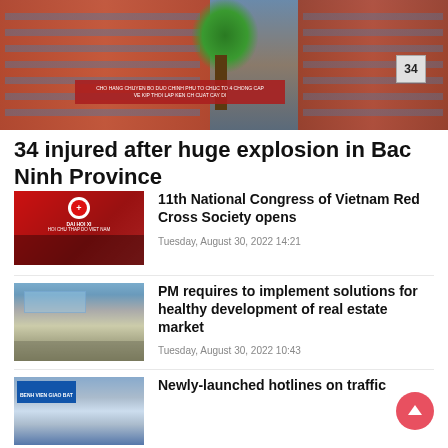[Figure (photo): Aerial or street-level photo of a building complex in Bac Ninh Province with red/brown multi-story buildings, a tree, and a red banner sign. Number 34 visible.]
34 injured after huge explosion in Bac Ninh Province
[Figure (photo): Photo of a group of people at the 11th National Congress of Vietnam Red Cross Society, with red backdrop and logo.]
11th National Congress of Vietnam Red Cross Society opens
Tuesday, August 30, 2022 14:21
[Figure (photo): Aerial photo of a real estate development or housing area.]
PM requires to implement solutions for healthy development of real estate market
Tuesday, August 30, 2022 10:43
[Figure (photo): Photo of a building with a sign, related to traffic hotlines story.]
Newly-launched hotlines on traffic